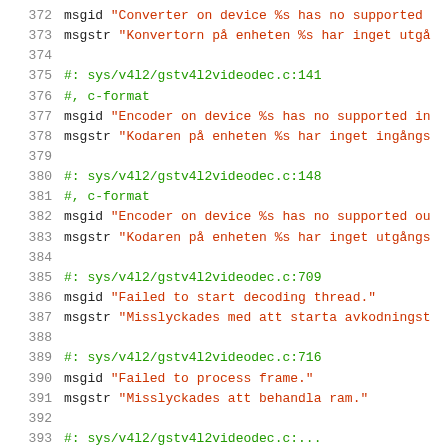372  msgid "Converter on device %s has no supported
373  msgstr "Konvertorn på enheten %s har inget utgå
374
375  #: sys/v4l2/gstv4l2videodec.c:141
376  #, c-format
377  msgid "Encoder on device %s has no supported in
378  msgstr "Kodaren på enheten %s har inget ingångs
379
380  #: sys/v4l2/gstv4l2videodec.c:148
381  #, c-format
382  msgid "Encoder on device %s has no supported ou
383  msgstr "Kodaren på enheten %s har inget utgångs
384
385  #: sys/v4l2/gstv4l2videodec.c:709
386  msgid "Failed to start decoding thread."
387  msgstr "Misslyckades med att starta avkodningst
388
389  #: sys/v4l2/gstv4l2videodec.c:716
390  msgid "Failed to process frame."
391  msgstr "Misslyckades att behandla ram."
392
393  #: sys/v4l2/gstv4l2videodec.c:...